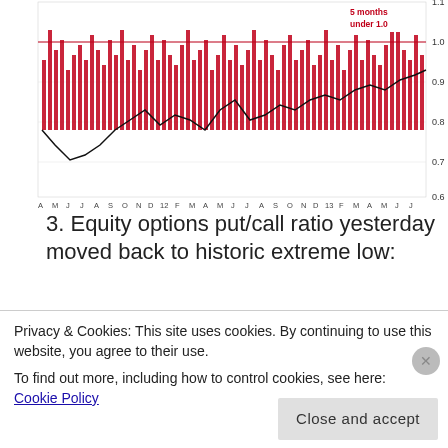[Figure (continuous-plot): Top portion of a financial chart showing CBOE put/call ratio with red bar histogram and black line overlay. X-axis shows months from A M J J A S O N to 14 F M. Y-axis shows values 0.6 to 1.1. Red annotation '5 months under 1.0' with horizontal red line at 1.0.]
3. Equity options put/call ratio yesterday moved back to historic extreme low:
[Figure (continuous-plot): StockCharts.com chart of $CPCE CBOE Options Equity Put/Call Ratio (EOD) Index, dated 6-Mar-2014. Shows Open 0.40 High 0.40 Low 0.40 Close 0.40 Chg -0.02 (-4.17%). Red bar histogram with black SPX line overlay rising from left to right. Y-axis 0.70 to 1.10.]
Privacy & Cookies: This site uses cookies. By continuing to use this website, you agree to their use.
To find out more, including how to control cookies, see here: Cookie Policy